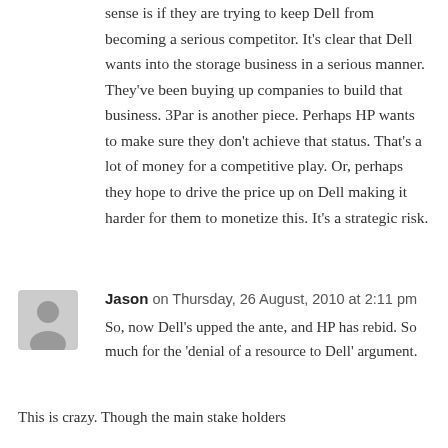sense is if they are trying to keep Dell from becoming a serious competitor. It's clear that Dell wants into the storage business in a serious manner. They've been buying up companies to build that business. 3Par is another piece. Perhaps HP wants to make sure they don't achieve that status. That's a lot of money for a competitive play. Or, perhaps they hope to drive the price up on Dell making it harder for them to monetize this. It's a strategic risk.
Jason on Thursday, 26 August, 2010 at 2:11 pm
So, now Dell's upped the ante, and HP has rebid. So much for the 'denial of a resource to Dell' argument.
This is crazy. Though the main stake holders